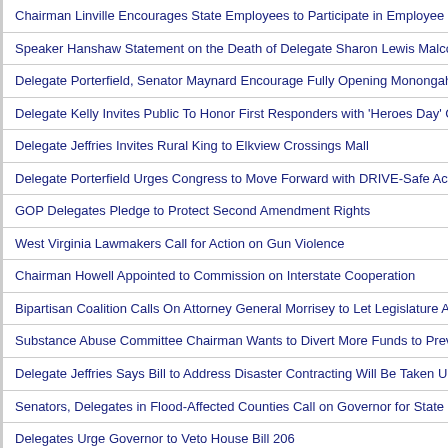Chairman Linville Encourages State Employees to Participate in Employee Sugg
Speaker Hanshaw Statement on the Death of Delegate Sharon Lewis Malcolm
Delegate Porterfield, Senator Maynard Encourage Fully Opening Monongahela N
Delegate Kelly Invites Public To Honor First Responders with 'Heroes Day' Celeb
Delegate Jeffries Invites Rural King to Elkview Crossings Mall
Delegate Porterfield Urges Congress to Move Forward with DRIVE-Safe Act
GOP Delegates Pledge to Protect Second Amendment Rights
West Virginia Lawmakers Call for Action on Gun Violence
Chairman Howell Appointed to Commission on Interstate Cooperation
Bipartisan Coalition Calls On Attorney General Morrisey to Let Legislature Appro
Substance Abuse Committee Chairman Wants to Divert More Funds to Prevent
Delegate Jeffries Says Bill to Address Disaster Contracting Will Be Taken Up in R
Senators, Delegates in Flood-Affected Counties Call on Governor for State of Em
Delegates Urge Governor to Veto House Bill 206
Chairman Higginbotham Praises $1.2 Billion Investment in Mason County
Delegate Bates: Omnibus Bill Goes Against One-Object Rule
Democratic Leaders Call for End to Wasteful Spending on Chaotic Special Sessi